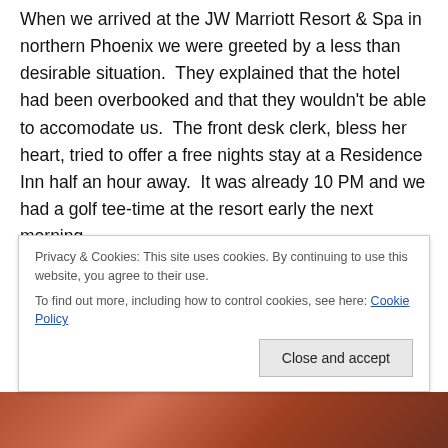When we arrived at the JW Marriott Resort & Spa in northern Phoenix we were greeted by a less than desirable situation.  They explained that the hotel had been overbooked and that they wouldn't be able to accomodate us.  The front desk clerk, bless her heart, tried to offer a free nights stay at a Residence Inn half an hour away.  It was already 10 PM and we had a golf tee-time at the resort early the next morning.
To put it simply, I wasn't having it, ANY of it.  We had planned our vacation around staying at the resort including golf dining and reservations. They always say that...
Privacy & Cookies: This site uses cookies. By continuing to use this website, you agree to their use.
To find out more, including how to control cookies, see here: Cookie Policy
[Figure (photo): Partial photo strip at bottom of page showing reddish-orange tones, likely a sunset or resort scene]